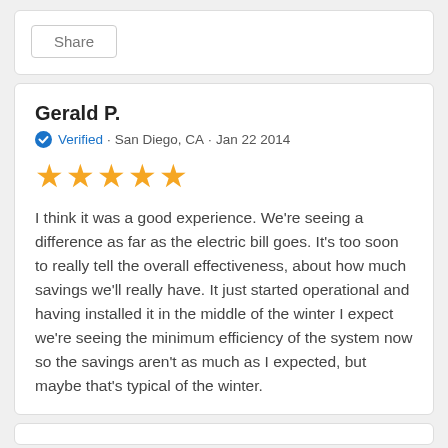Share
Gerald P.
Verified · San Diego, CA · Jan 22 2014
[Figure (other): Five orange star rating icons]
I think it was a good experience. We're seeing a difference as far as the electric bill goes. It's too soon to really tell the overall effectiveness, about how much savings we'll really have. It just started operational and having installed it in the middle of the winter I expect we're seeing the minimum efficiency of the system now so the savings aren't as much as I expected, but maybe that's typical of the winter.